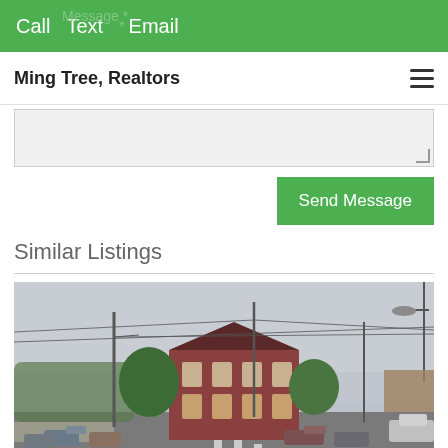Call  Text  Email
Ming Tree, Realtors
[Figure (screenshot): Message textarea input field with resize handle in bottom right corner]
Send Message
Similar Listings
[Figure (photo): Street view photo of a red brick building at a road intersection with utility poles, trees, and parked cars. Overcast sky. Street runs diagonally. Building appears to be a historic two-story structure.]